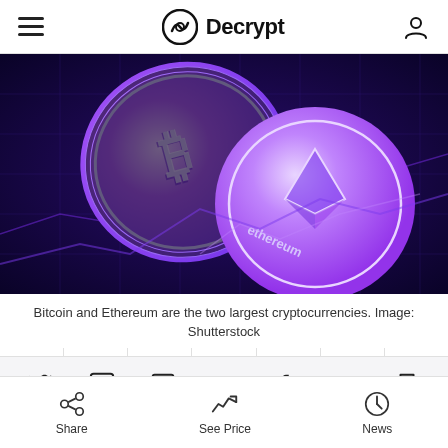Decrypt
[Figure (photo): Bitcoin and Ethereum physical coins on a dark purple circuit board background]
Bitcoin and Ethereum are the two largest cryptocurrencies. Image: Shutterstock
[Figure (other): Social sharing icons row: Twitter, LinkedIn, Flipboard, Email, Facebook, Reddit, Bookmark]
...0000000...
Share | See Price | News